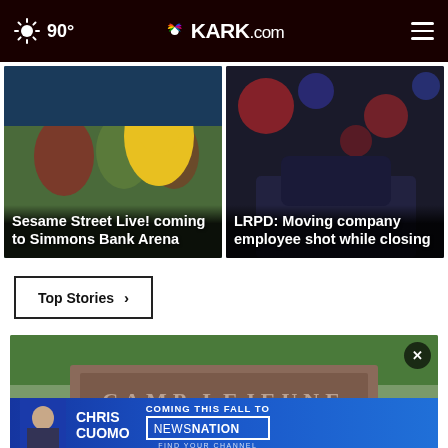90° KARK.com
[Figure (photo): Sesame Street Live characters and performers at event]
Sesame Street Live! coming to Simmons Bank Arena
[Figure (photo): Police car lights blurred bokeh background, LRPD story]
LRPD: Moving company employee shot while closing
Top Stories ›
[Figure (photo): Camp Lejeune sign entrance with trees in background]
[Figure (photo): Advertisement: Chris Cuomo Coming This Fall to NewsNation - Find Your Channel]